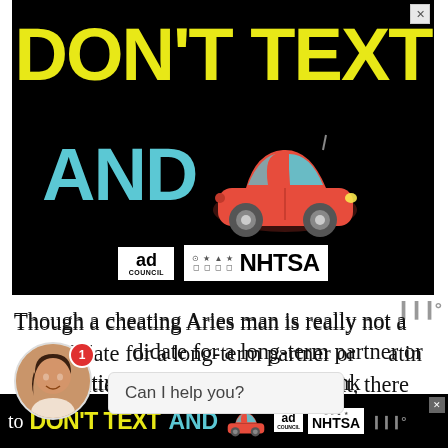[Figure (screenshot): Black background advertisement banner. Large yellow bold text 'DON'T TEXT' on first line. Below it, large cyan bold text 'AND' next to a red car emoji. Ad Council and NHTSA logos at bottom.]
Though a cheating Aries man is really not a candidate for a long-term partner or that matter, if you think he's worth it, there can be a number of ways to
[Figure (screenshot): Bottom black banner ad repeating 'DON'T TEXT AND' with car emoji and ad logos, with close X button.]